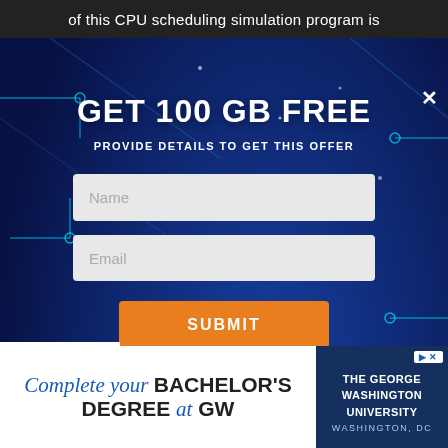of this CPU scheduling simulation program is
[Figure (screenshot): Modal overlay popup on a dark blue circuit board background offering 100 GB free cloud storage. Contains headline 'GET 100 GB FREE', subtitle 'PROVIDE DETAILS TO GET THIS OFFER', a Name input field, an Email input field, and an orange SUBMIT button. A white close (X) button appears top right.]
[Figure (infographic): Advertisement banner for The George Washington University. Left side shows text 'Complete your BACHELOR'S DEGREE at GW' in mixed serif italic and bold sans-serif fonts. Right side shows dark blue panel with GW University logo text and Washington DC label, plus an ad badge icon.]